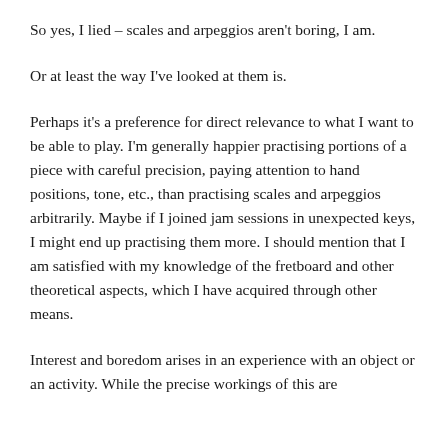the interest, and therefore also the boring, cannot be in the thing itself. It must be in me.
So yes, I lied – scales and arpeggios aren't boring, I am.
Or at least the way I've looked at them is.
Perhaps it's a preference for direct relevance to what I want to be able to play. I'm generally happier practising portions of a piece with careful precision, paying attention to hand positions, tone, etc., than practising scales and arpeggios arbitrarily. Maybe if I joined jam sessions in unexpected keys, I might end up practising them more. I should mention that I am satisfied with my knowledge of the fretboard and other theoretical aspects, which I have acquired through other means.
Interest and boredom arises in an experience with an object or an activity. While the precise workings of this are